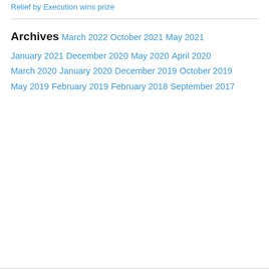Relief by Execution wins prize
Archives
March 2022
October 2021
May 2021
January 2021
December 2020
May 2020
April 2020
March 2020
January 2020
December 2019
October 2019
May 2019
February 2019
February 2018
September 2017